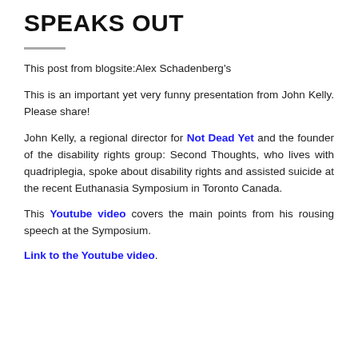SPEAKS OUT
This post from blogsite:Alex Schadenberg's
This is an important yet very funny presentation from John Kelly. Please share!
John Kelly, a regional director for Not Dead Yet and the founder of the disability rights group: Second Thoughts, who lives with quadriplegia, spoke about disability rights and assisted suicide at the recent Euthanasia Symposium in Toronto Canada.
This Youtube video covers the main points from his rousing speech at the Symposium.
Link to the Youtube video.